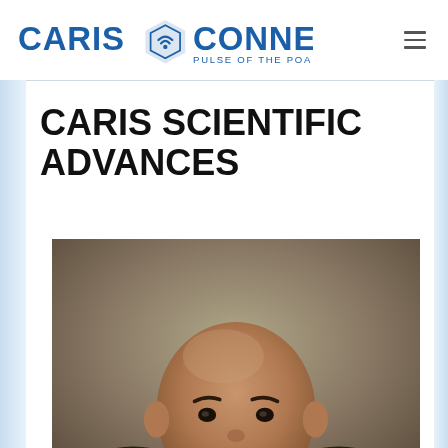CARIS CONNECTION — PULSE OF THE POA
CARIS SCIENTIFIC ADVANCES
[Figure (photo): Headshot of a bald man smiling, with a blurred background]